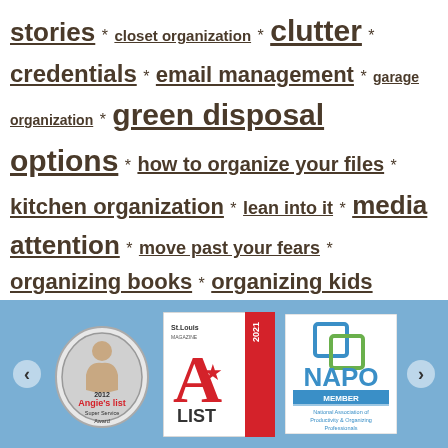stories * closet organization * clutter * credentials * email management * garage organization * green disposal options * how to organize your files * kitchen organization * lean into it * media attention * move past your fears * organizing books * organizing kids rooms * organizing products * organizing resources * organizing tips * paper clutter * paper management * planning * prioritize * productivity tips * recycling * simplify meal prep * simplify the holidays * simplify your move * stop junk mail * The Stuff Stop * why hire a professional organizer *
[Figure (other): Footer banner with three award/membership badges: Angie's List 2012 Super Service Award (gray circular badge with illustrated figure), St. Louis Magazine A-List 2021 Winner (red and white badge), and NAPO Member - National Association of Productivity & Organizing Professionals (blue/green logo). Navigation arrows on left and right.]